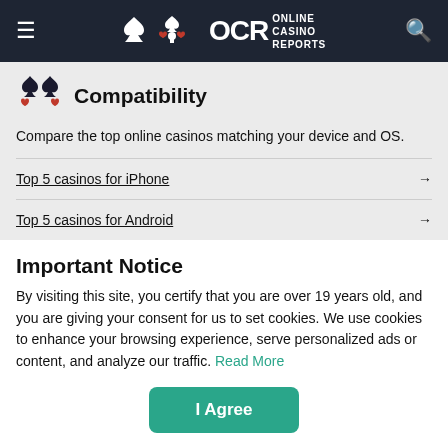OCR Online Casino Reports
Compatibility
Compare the top online casinos matching your device and OS.
Top 5 casinos for iPhone →
Top 5 casinos for Android →
Important Notice
By visiting this site, you certify that you are over 19 years old, and you are giving your consent for us to set cookies. We use cookies to enhance your browsing experience, serve personalized ads or content, and analyze our traffic. Read More
I Agree